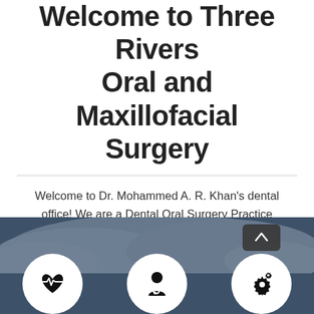Welcome to Three Rivers Oral and Maxillofacial Surgery
Welcome to Dr. Mohammed A. R. Khan's dental office! We are a Dental Oral Surgery Practice devoted to oral surgery needs, enhancing the natural beauty of your smile using conservative, state-of-the-art procedures that will result in beautiful, long lasting smiles!
[Figure (illustration): Dark blue/slate background section with cloud texture and three circular white icons at bottom: a heart monitor icon, a doctor/person icon, and a gear/settings icon with a small back-to-top arrow overlay]